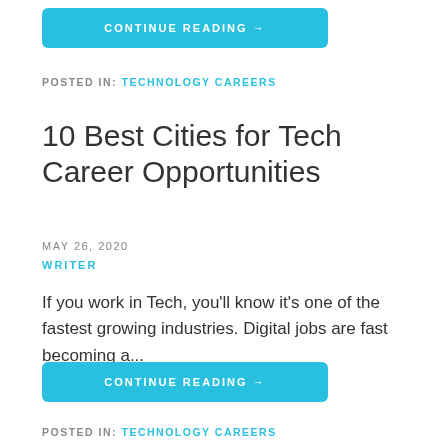CONTINUE READING →
POSTED IN: TECHNOLOGY CAREERS
10 Best Cities for Tech Career Opportunities
MAY 26, 2020
WRITER
If you work in Tech, you'll know it's one of the fastest growing industries. Digital jobs are fast becoming a...
CONTINUE READING →
POSTED IN: TECHNOLOGY CAREERS